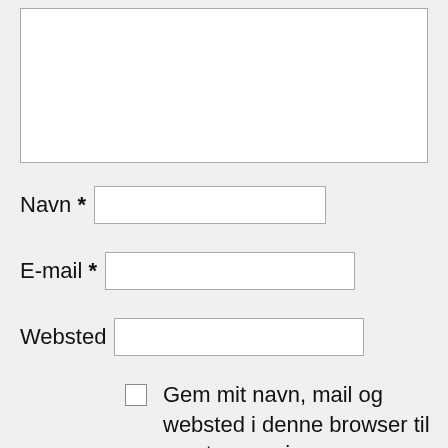[Figure (screenshot): A web form with a textarea, three text input fields labeled Navn, E-mail, and Websted, and a checkbox with label text in Danish.]
Navn *
E-mail *
Websted
Gem mit navn, mail og websted i denne browser til næste gang jeg kommenterer.